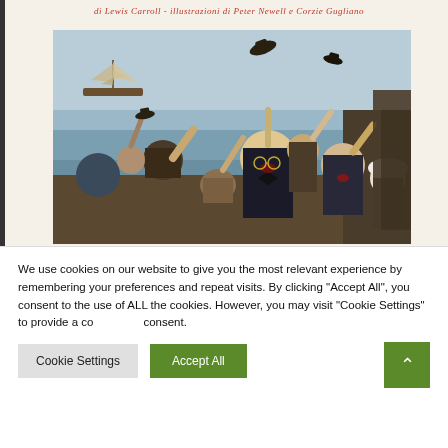di Lewis Carroll - illustrazioni di Peter Newell e Corzie Gugliano
[Figure (illustration): Book cover illustration showing a crowd of people with arms raised, some hats flying in the air, set against a coastal background with a sailing ship in the distance. Colorful vintage illustration style.]
We use cookies on our website to give you the most relevant experience by remembering your preferences and repeat visits. By clicking “Accept All”, you consent to the use of ALL the cookies. However, you may visit "Cookie Settings" to provide a controlled consent.
Cookie Settings
Accept All